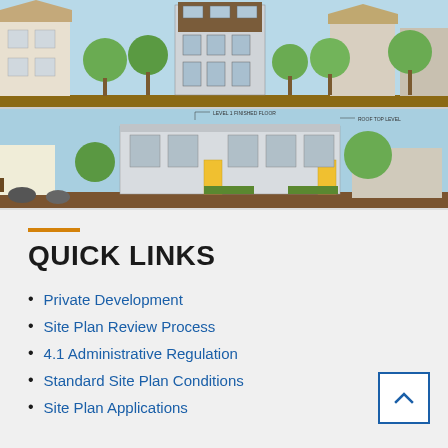[Figure (illustration): Architectural elevation drawings of a residential development showing street-facing views of multi-story buildings with trees, neighboring houses, and landscaping against a light blue sky background.]
QUICK LINKS
Private Development
Site Plan Review Process
4.1 Administrative Regulation
Standard Site Plan Conditions
Site Plan Applications